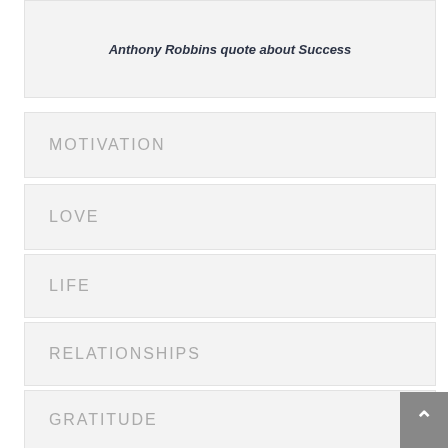Anthony Robbins quote about Success
MOTIVATION
LOVE
LIFE
RELATIONSHIPS
GRATITUDE
COMMUNICATION
BUSINESS